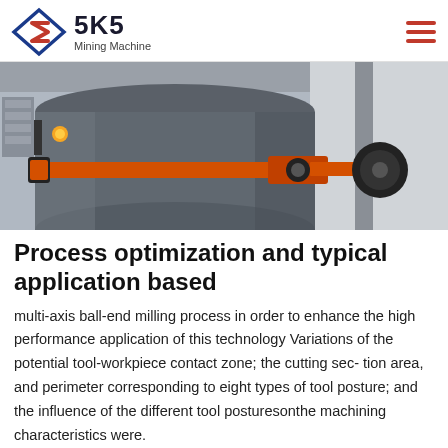SKS Mining Machine
[Figure (photo): Close-up photograph of industrial mining machinery showing a large grey cylindrical drum/barrel with an orange strap/belt secured around it and mechanical components including pulleys and brackets in the background.]
Process optimization and typical application based
multi-axis ball-end milling process in order to enhance the high performance application of this technology Variations of the potential tool-workpiece contact zone; the cutting sec- tion area, and perimeter corresponding to eight types of tool posture; and the influence of the different tool posturesonthe machining characteristics were.